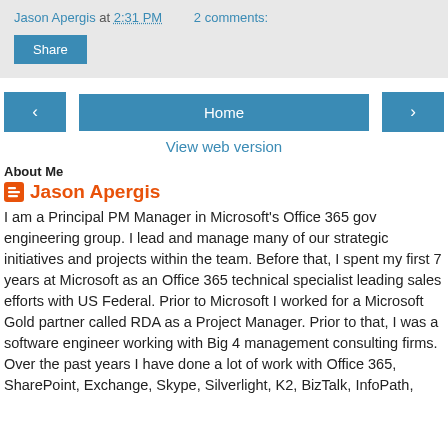Jason Apergis at 2:31 PM   2 comments:
Share
‹   Home   ›
View web version
About Me
Jason Apergis
I am a Principal PM Manager in Microsoft's Office 365 gov engineering group. I lead and manage many of our strategic initiatives and projects within the team. Before that, I spent my first 7 years at Microsoft as an Office 365 technical specialist leading sales efforts with US Federal. Prior to Microsoft I worked for a Microsoft Gold partner called RDA as a Project Manager. Prior to that, I was a software engineer working with Big 4 management consulting firms. Over the past years I have done a lot of work with Office 365, SharePoint, Exchange, Skype, Silverlight, K2, BizTalk, InfoPath,